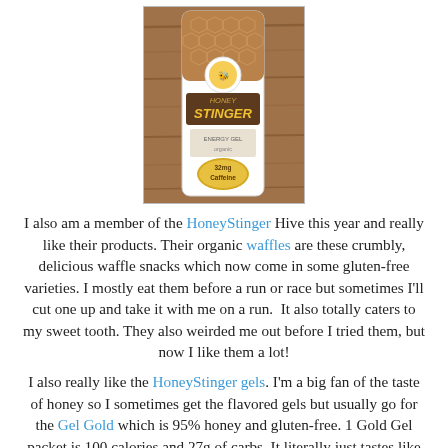[Figure (photo): A Honey Stinger energy gel packet with honeycomb pattern and 'Caffeine' label, photographed against a wooden surface.]
I also am a member of the HoneyStinger Hive this year and really like their products. Their organic waffles are these crumbly, delicious waffle snacks which now come in some gluten-free varieties. I mostly eat them before a run or race but sometimes I'll cut one up and take it with me on a run.  It also totally caters to my sweet tooth. They also weirded me out before I tried them, but now I like them a lot!
I also really like the HoneyStinger gels. I'm a big fan of the taste of honey so I sometimes get the flavored gels but usually go for the Gel Gold which is 95% honey and gluten-free. 1 Gold Gel packet is 100 calories and 27g of carbs. It literally just tastes like honey plus I like that it is more of a